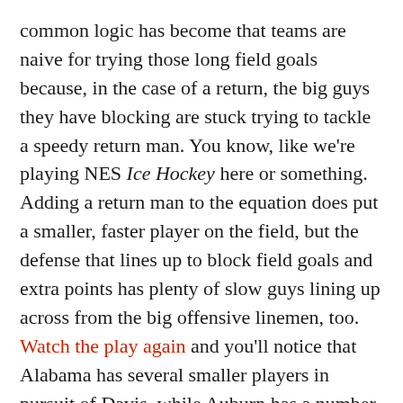common logic has become that teams are naive for trying those long field goals because, in the case of a return, the big guys they have blocking are stuck trying to tackle a speedy return man. You know, like we're playing NES Ice Hockey here or something. Adding a return man to the equation does put a smaller, faster player on the field, but the defense that lines up to block field goals and extra points has plenty of slow guys lining up across from the big offensive linemen, too. Watch the play again and you'll notice that Alabama has several smaller players in pursuit of Davis, while Auburn has a number of enormous players blocking on Davis's behalf. The problem was that Auburn's players out-executed Alabama's guys: Note 194-pound Ryan Smith pancaking star Alabama lineman Arie Kouandjio, who's listed at 315 pounds. I don't doubt that Auburn's guys on the field were faster than Alabama's group, but it's not as cut-and-dry as has been reported.